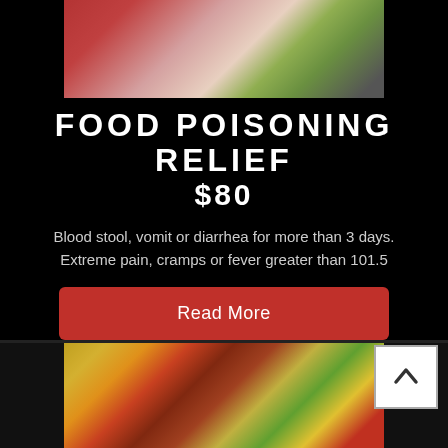[Figure (photo): Woman lying in bed holding a pillow against her stomach, appearing to be in pain or discomfort]
FOOD POISONING RELIEF $80
Blood stool, vomit or diarrhea for more than 3 days. Extreme pain, cramps or fever greater than 101.5
Read More
[Figure (photo): Overhead photo of various fruits, vegetables, spices, and food items on a dark wooden surface]